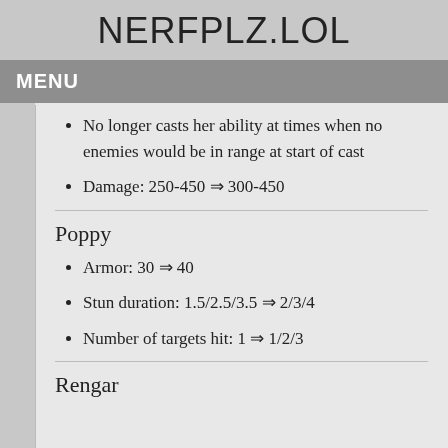NERFPLZ.LOL
MENU
No longer casts her ability at times when no enemies would be in range at start of cast
Damage: 250-450 ⇒ 300-450
Poppy
Armor: 30 ⇒ 40
Stun duration: 1.5/2.5/3.5 ⇒ 2/3/4
Number of targets hit: 1 ⇒ 1/2/3
Rengar